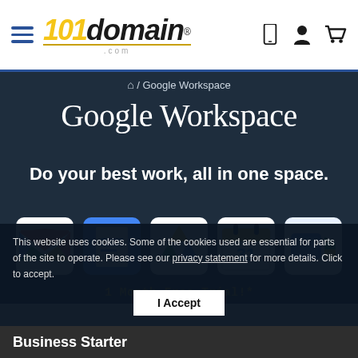101domain.com navigation bar with hamburger menu, logo, and icons for mobile, account, and cart
🏠 / Google Workspace
Google Workspace
Do your best work, all in one space.
[Figure (illustration): Five Google Workspace app icons: Gmail (M), Google Docs, Google Drive, Google Calendar (31), Google Meet]
1 Month Free Trial!*
This website uses cookies. Some of the cookies used are essential for parts of the site to operate. Please see our privacy statement for more details. Click to accept.
I Accept
Business Starter